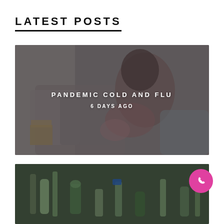LATEST POSTS
[Figure (photo): A woman with curly hair holding a sick child on a sofa, with a tissue box visible. Semi-transparent dark overlay with text 'PANDEMIC COLD AND FLU' and '6 DAYS AGO' centered.]
PANDEMIC COLD AND FLU
6 DAYS AGO
[Figure (photo): Close-up photo of glass bottles and vials, possibly medical or pharmaceutical, on a dark surface. A pink circular button with a hand/cursor icon is visible in the top-right corner.]